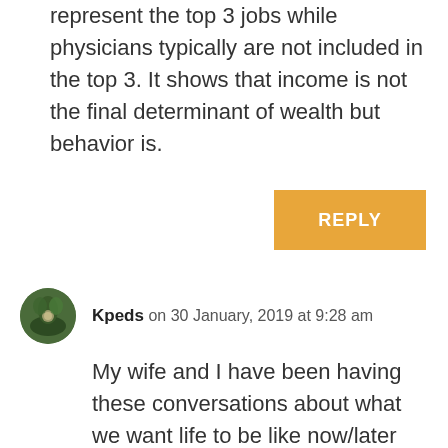represent the top 3 jobs while physicians typically are not included in the top 3. It shows that income is not the final determinant of wealth but behavior is.
REPLY
Kpeds on 30 January, 2019 at 9:28 am
My wife and I have been having these conversations about what we want life to be like now/later and how much to save.
Setting up the savings goals and